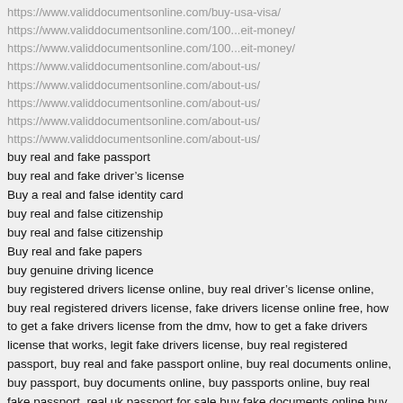https://www.validdocumentsonline.com/buy-usa-visa/
https://www.validdocumentsonline.com/100...eit-money/
https://www.validdocumentsonline.com/100...eit-money/
https://www.validdocumentsonline.com/about-us/
https://www.validdocumentsonline.com/about-us/
https://www.validdocumentsonline.com/about-us/
https://www.validdocumentsonline.com/about-us/
https://www.validdocumentsonline.com/about-us/
buy real and fake passport
buy real and fake driver's license
Buy a real and false identity card
buy real and false citizenship
buy real and false citizenship
Buy real and fake papers
buy genuine driving licence
buy registered drivers license online, buy real driver’s license online, buy real registered drivers license, fake drivers license online free, how to get a fake drivers license from the dmv, how to get a fake drivers license that works, legit fake drivers license, buy real registered passport, buy real and fake passport online, buy real documents online, buy passport, buy documents online, buy passports online, buy real fake passport, real uk passport for sale,buy fake documents online,buy real fake documents review,buy real and fake passport online,buy passport online,fake